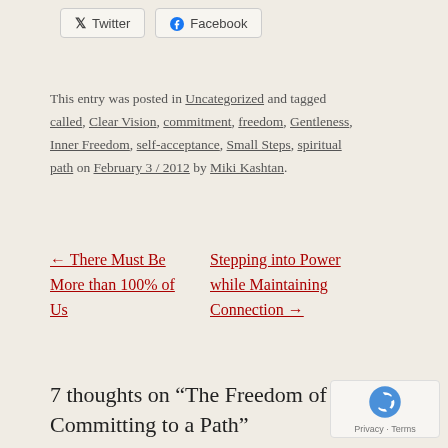[Figure (other): Twitter and Facebook social sharing buttons]
This entry was posted in Uncategorized and tagged called, Clear Vision, commitment, freedom, Gentleness, Inner Freedom, self-acceptance, Small Steps, spiritual path on February 3 / 2012 by Miki Kashtan.
← There Must Be More than 100% of Us
Stepping into Power while Maintaining Connection →
7 thoughts on “The Freedom of Committing to a Path”